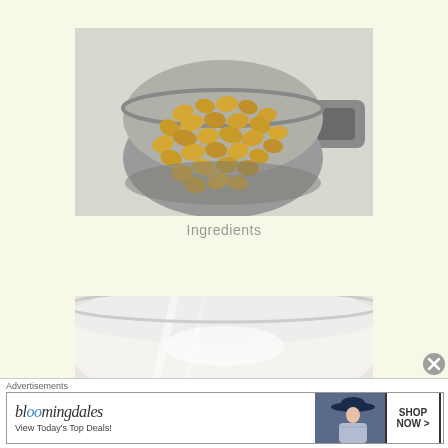[Figure (photo): A metal measuring cup (1/4 cup / 60ml) filled with unpopped popcorn kernels, viewed from above on a white background.]
Ingredients
[Figure (photo): A large white bowl or pot viewed from above, partially visible.]
Advertisements
[Figure (screenshot): Bloomingdale's advertisement banner reading 'bloomingdales View Today's Top Deals!' with a woman in a wide-brim hat and a 'SHOP NOW >' button.]